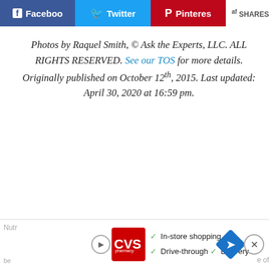[Figure (other): Social share bar with Facebook, Twitter, Pinterest buttons and SHARES count]
Photos by Raquel Smith, © Ask the Experts, LLC. ALL RIGHTS RESERVED. See our TOS for more details. Originally published on October 12th, 2015. Last updated: April 30, 2020 at 16:59 pm.
[Figure (other): CVS Pharmacy advertisement banner with In-store shopping, Drive-through, Delivery options and navigation arrow icon]